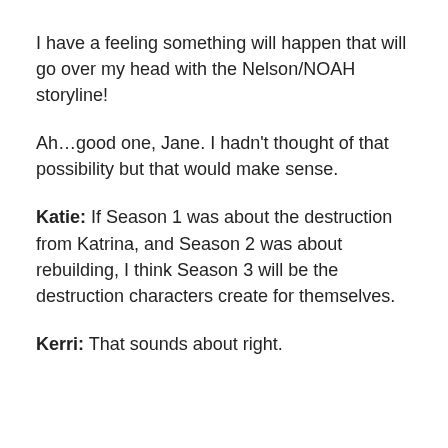I have a feeling something will happen that will go over my head with the Nelson/NOAH storyline!
Ah…good one, Jane. I hadn't thought of that possibility but that would make sense.
Katie: If Season 1 was about the destruction from Katrina, and Season 2 was about rebuilding, I think Season 3 will be the destruction characters create for themselves.
Kerri: That sounds about right.